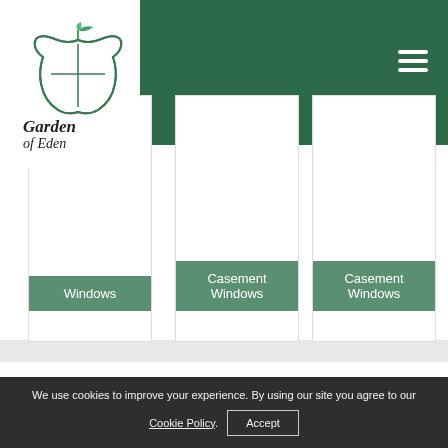[Figure (logo): Garden of Eden logo — green apple with leaf and window pane design, italic script text]
Windows
Casement Windows
Casement Windows
Get In Touch
Are you looking for a new trade supplier that offers reliable, fast delivery and won't let you down? Get in touch with Garden of Eden today! You can simply leave your details on our online form, and a member of our team will get back to you as soon as possible. Alternatively, you're welcome to give us a call on
We use cookies to improve your experience. By using our site you agree to our Cookie Policy. Accept